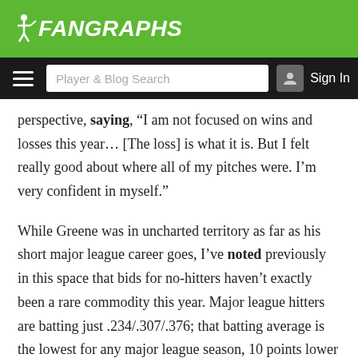FanGraphs logo and navigation bar
perspective, saying, “I am not focused on wins and losses this year… [The loss] is what it is. But I felt really good about where all of my pitches were. I’m very confident in myself.”
While Greene was in uncharted territory as far as his short major league career goes, I’ve noted previously in this space that bids for no-hitters haven’t exactly been a rare commodity this year. Major league hitters are batting just .234/.307/.376; that batting average is the lowest for any major league season, 10 points lower than last year and three points lower than in 1968, “The Year of the Pitcher,” when the full-season low was set. So far, 28